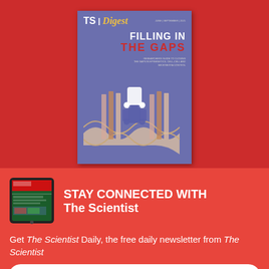[Figure (illustration): Magazine cover of TS Digest showing 'FILLING IN THE GAPS' title on a purple/blue background with a DNA double helix and puzzle piece illustration]
STAY CONNECTED WITH The Scientist
Get The Scientist Daily, the free daily newsletter from The Scientist
Sign up for our free newsletter